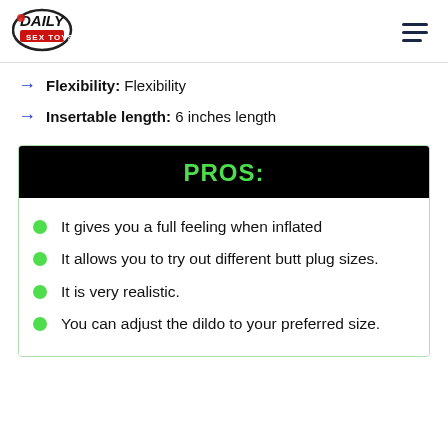Daily Sex Toys logo and navigation menu
Flexibility: Flexibility
Insertable length: 6 inches length
PROS:
It gives you a full feeling when inflated
It allows you to try out different butt plug sizes.
It is very realistic.
You can adjust the dildo to your preferred size.